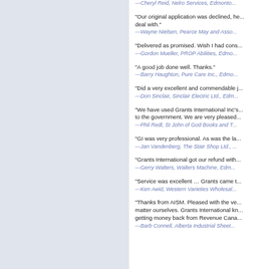—Cheryl Reid, Nelro Services, Edmonton
"Our original application was declined, he... deal with."
—Wayne Nielsen, Pearce May and Asso...
"Delivered as promised. Wish I had cons...
—Gordon Mueller, PROP Abilities, Edmo...
"A good job done well. Thanks."
—Barry Haughton, Pure Care Inc., Edmo...
"Did a very excellent and commendable j...
—Don Sinclair, Sinclair Electric Ltd., Edm...
"We have used Grants International Inc's... to the government. We are very pleased...
—Phil Redl, St John of God Books and T...
"GI was very professional. As was the la...
—Jan Vandenberg, The Stair Shop Ltd., ...
"Grants International got our refund with...
—Gerry Walters, Walters Machine, Edm...
"Service was excellent ... Grants came t...
—Ken Awid, Western Varieties Wholesal...
"Thanks from AISM. Pleased with the ve... matter ourselves. Grants International kn... getting money back from Revenue Cana...
—Barb Connell, Alberta Industrial Sheet...